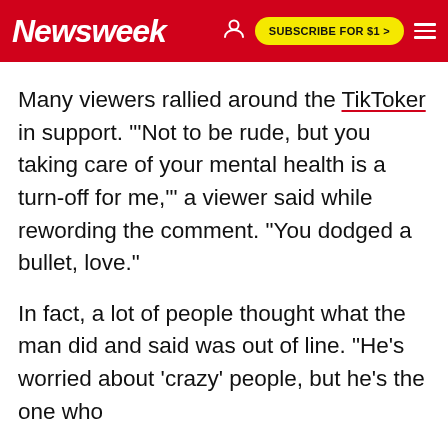Newsweek | SUBSCRIBE FOR $1 >
Many viewers rallied around the TikToker in support. "'Not to be rude, but you taking care of your mental health is a turn-off for me,'" a viewer said while rewording the comment. "You dodged a bullet, love."
In fact, a lot of people thought what the man did and said was out of line. "He's worried about 'crazy' people, but he's the one who